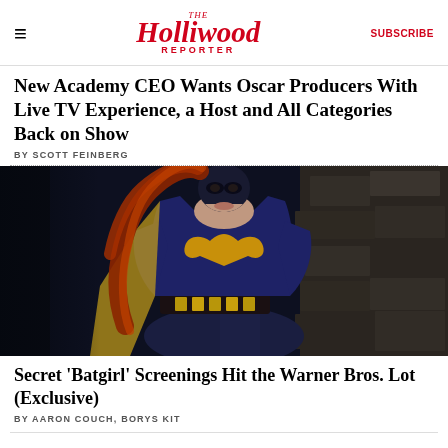The Hollywood Reporter | SUBSCRIBE
New Academy CEO Wants Oscar Producers With Live TV Experience, a Host and All Categories Back on Show
BY SCOTT FEINBERG
[Figure (photo): Batgirl character in blue superhero suit and mask with flowing red hair, standing in a dark stone environment]
Secret 'Batgirl' Screenings Hit the Warner Bros. Lot (Exclusive)
BY AARON COUCH, BORYS KIT